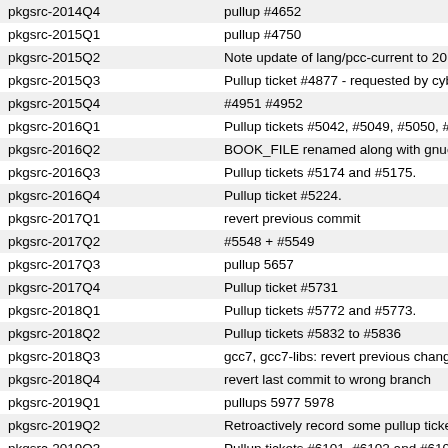| Branch | Description |
| --- | --- |
| pkgsrc-2014Q4 | pullup #4652 |
| pkgsrc-2015Q1 | pullup #4750 |
| pkgsrc-2015Q2 | Note update of lang/pcc-current to 201 |
| pkgsrc-2015Q3 | Pullup ticket #4877 - requested by cyb |
| pkgsrc-2015Q4 | #4951 #4952 |
| pkgsrc-2016Q1 | Pullup tickets #5042, #5049, #5050, #5 |
| pkgsrc-2016Q2 | BOOK_FILE renamed along with gnuc |
| pkgsrc-2016Q3 | Pullup tickets #5174 and #5175. |
| pkgsrc-2016Q4 | Pullup ticket #5224. |
| pkgsrc-2017Q1 | revert previous commit |
| pkgsrc-2017Q2 | #5548 + #5549 |
| pkgsrc-2017Q3 | pullup 5657 |
| pkgsrc-2017Q4 | Pullup ticket #5731 |
| pkgsrc-2018Q1 | Pullup tickets #5772 and #5773. |
| pkgsrc-2018Q2 | Pullup tickets #5832 to #5836 |
| pkgsrc-2018Q3 | gcc7, gcc7-libs: revert previous change |
| pkgsrc-2018Q4 | revert last commit to wrong branch |
| pkgsrc-2019Q1 | pullups 5977 5978 |
| pkgsrc-2019Q2 | Retroactively record some pullup ticket |
| pkgsrc-2019Q3 | Pullup tickets #6101, #6102 and #6104 |
| pkgsrc-2019Q4 | Pullup tickets #6145 and #6146 |
| pkgsrc-2020Q1 | Pullup ticket #6244 - requested by nia |
| pkgsrc-2020Q2 | Pullup ticket #6326 - requested by he |
| pkgsrc-2020Q3 | Pullup tickets #6385 and #6386 |
| pkgsrc-2020Q4 | Pullup tickets #6432 and #6434 |
| pkgsrc-2021Q1 | Pullup tickets up to #6470 |